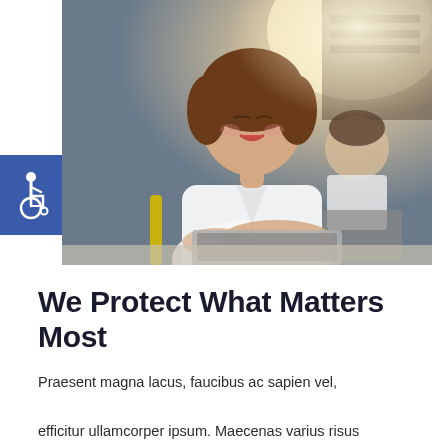[Figure (photo): A smiling young woman with short brown hair wearing a white blouse, sitting at a desk with a laptop, appearing to be in a wheelchair. In the background, a young man in a white shirt works on a laptop.]
We Protect What Matters Most
Praesent magna lacus, faucibus ac sapien vel, efficitur ullamcorper ipsum. Maecenas varius risus